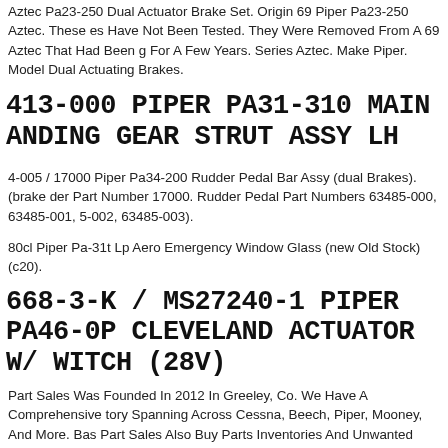Aztec Pa23-250 Dual Actuator Brake Set. Origin 69 Piper Pa23-250 Aztec. These es Have Not Been Tested. They Were Removed From A 69 Aztec That Had Been g For A Few Years. Series Aztec. Make Piper. Model Dual Actuating Brakes.
413-000 PIPER PA31-310 MAIN ANDING GEAR STRUT ASSY LH
4-005 / 17000 Piper Pa34-200 Rudder Pedal Bar Assy (dual Brakes). (brake der Part Number 17000. Rudder Pedal Part Numbers 63485-000, 63485-001, 5-002, 63485-003).
80cl Piper Pa-31t Lp Aero Emergency Window Glass (new Old Stock) (c20).
668-3-K / MS27240-1 PIPER PA46-0P CLEVELAND ACTUATOR W/ WITCH (28V)
Part Sales Was Founded In 2012 In Greeley, Co. We Have A Comprehensive tory Spanning Across Cessna, Beech, Piper, Mooney, And More. Bas Part Sales Also Buy Parts Inventories And Unwanted Aircraft So Let Us Know What You Hav
Pa-38 Tomahawk Nose Gear Strut & Fork P/n 77776-02, 77776-002 (0720-121).